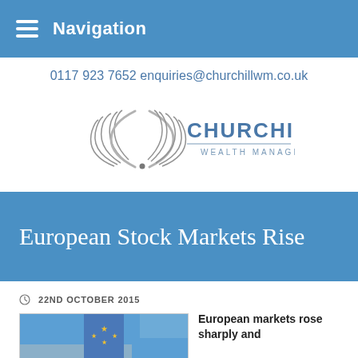Navigation
0117 923 7652 enquiries@churchillwm.co.uk
[Figure (logo): Churchill Wealth Management logo with decorative wing/parenthesis emblem and text CHURCHILL WEALTH MANAGEMENT]
European Stock Markets Rise
22ND OCTOBER 2015
[Figure (photo): Partial photo of European flag with blue and gold stars]
European markets rose sharply and